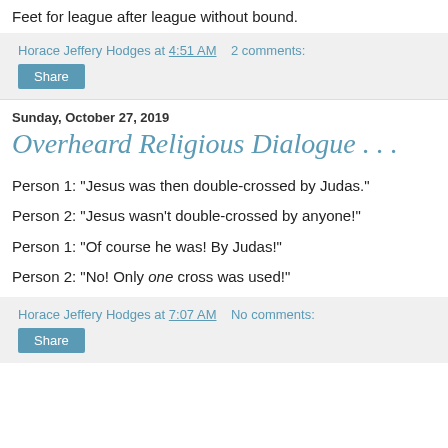Feet for league after league without bound.
Horace Jeffery Hodges at 4:51 AM   2 comments:
Share
Sunday, October 27, 2019
Overheard Religious Dialogue . . .
Person 1: "Jesus was then double-crossed by Judas."
Person 2: "Jesus wasn't double-crossed by anyone!"
Person 1: "Of course he was! By Judas!"
Person 2: "No! Only one cross was used!"
Horace Jeffery Hodges at 7:07 AM   No comments:
Share